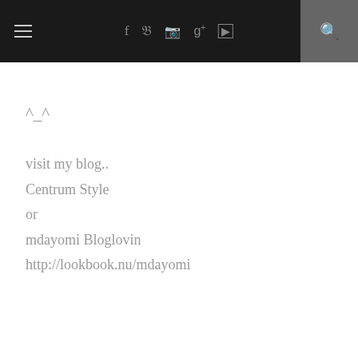≡  f  𝕥  📷  g+  ▶  🔍
^_^
visit my blog..
Centrum Style
or
mdayomi Bloglovin
http://lookbook.nu/mdayomi
Reply
RUNAWAY IN LA
May 1, 2014 at 12:02 AM
Bali looks absolutely stunning! *_* I